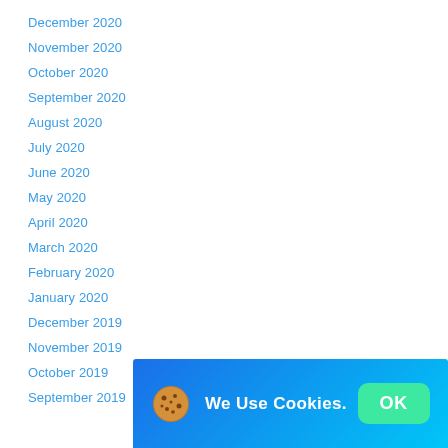December 2020
November 2020
October 2020
September 2020
August 2020
July 2020
June 2020
May 2020
April 2020
March 2020
February 2020
January 2020
December 2019
November 2019
October 2019
September 2019
[Figure (screenshot): Cookie consent banner with blue gradient background, cookie emoji icon, text 'We Use Cookies.' and a green OK button]